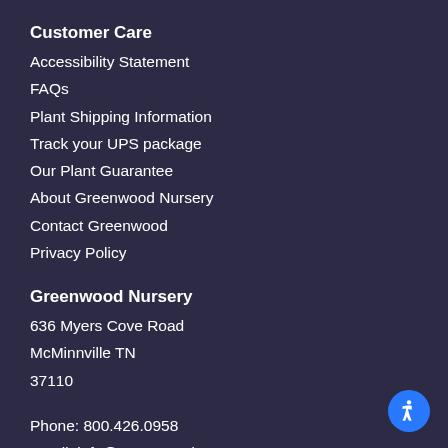Customer Care
Accessibility Statement
FAQs
Plant Shipping Information
Track your UPS package
Our Plant Guarantee
About Greenwood Nursery
Contact Greenwood
Privacy Policy
Greenwood Nursery
636 Myers Cove Road
McMinnville TN
37110
Phone: 800.426.0958
Email: info@greenwoodnursery.com